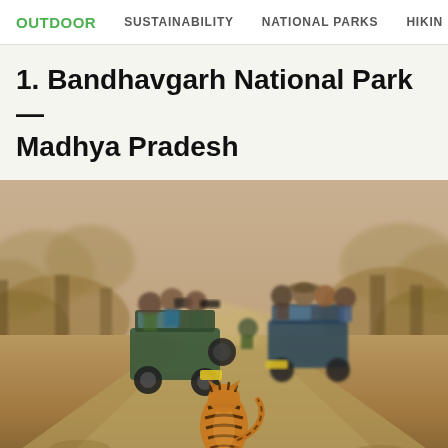OUTDOOR   SUSTAINABILITY   NATIONAL PARKS   HIKING
1. Bandhavgarh National Park — Madhya Pradesh
[Figure (photo): A tiger walking away from the camera on a dusty dirt road in Bandhavgarh National Park, with two open-top safari jeeps full of tourists and photographers watching and photographing the tiger. Dry scrub forest surrounds the path. The scene is shot in warm, hazy daylight.]